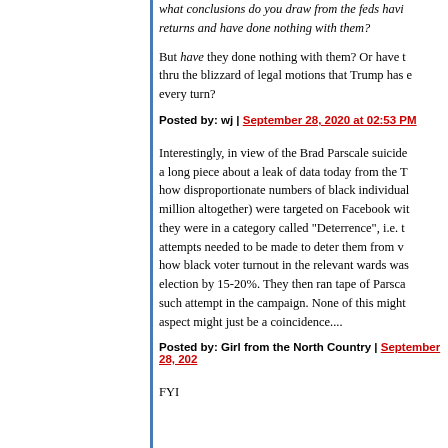what conclusions do you draw from the feds having the returns and have done nothing with them?
But have they done nothing with them? Or have they been working thru the blizzard of legal motions that Trump has employed at every turn?
Posted by: wj | September 28, 2020 at 02:53 PM
Interestingly, in view of the Brad Parscale suicide attempt, there was a long piece about a leak of data today from the Trump campaign about how disproportionate numbers of black individuals (3.5 million altogether) were targeted on Facebook with negative ads because they were in a category called "Deterrence", i.e. that persuasion attempts needed to be made to deter them from voting. It also showed how black voter turnout in the relevant wards was suppressed in that election by 15-20%. They then ran tape of Parscale denying any such attempt in the campaign. None of this might be related but one aspect might just be a coincidence....
Posted by: Girl from the North Country | September 28, 202
FYI